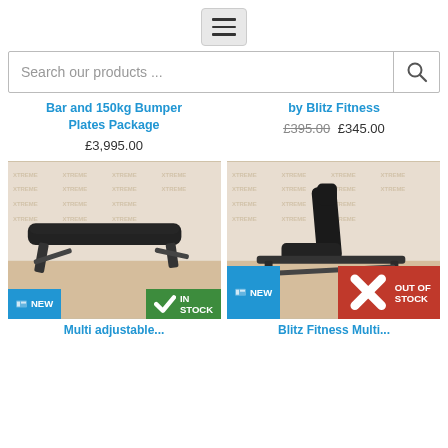[Figure (other): Hamburger menu button icon (three horizontal lines)]
Search our products ...
Bar and 150kg Bumper Plates Package
£3,995.00
by Blitz Fitness
£395.00  £345.00
[Figure (photo): Adjustable weight bench laid flat, black upholstery, metal frame, photographed in a gym against a branded wall. Badges: NEW (blue), IN STOCK (green).]
[Figure (photo): Adjustable weight bench in upright/incline position, black, photographed in a gym against a branded wall. Badges: NEW (blue), OUT OF STOCK (red).]
Multi adjustable...
Blitz Fitness Multi...